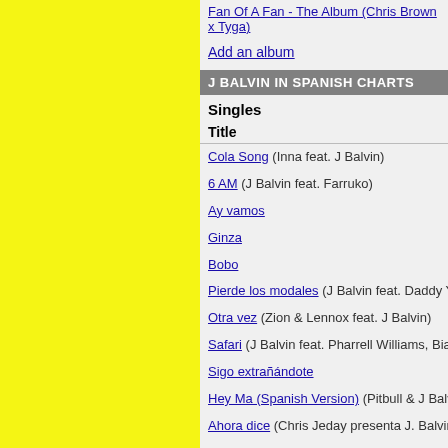Fan Of A Fan - The Album (Chris Brown x Tyga)
Add an album
J BALVIN IN SPANISH CHARTS
Singles
Title
Cola Song (Inna feat. J Balvin)
6 AM (J Balvin feat. Farruko)
Ay vamos
Ginza
Bobo
Pierde los modales (J Balvin feat. Daddy Yankee)
Otra vez (Zion & Lennox feat. J Balvin)
Safari (J Balvin feat. Pharrell Williams, Bia & Sky)
Sigo extrañándote
Hey Ma (Spanish Version) (Pitbull & J Balvin feat.
Ahora dice (Chris Jeday presenta J. Balvin · Ozun
Bonita (Jowell & Randy / J. Balvin)
Buscando huellas (Major Lazer feat. J Balvin & Se
Mi gente (J Balvin & Willy William)
Mi gente (J Balvin & Willy William feat. Beyoncé)
Sensualidad (Bad Bunny · J Balvin · Prince Royce
Downtown (Anitta and J Balvin)
Bum bum tam tam (MC Fioti / Future / J Balvin / S